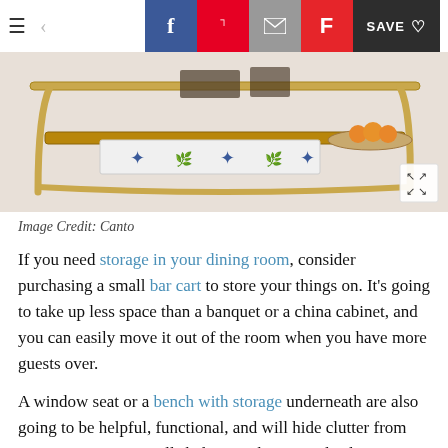Navigation bar with hamburger menu, back arrow, Facebook, Pinterest, Email, Flipboard, and Save buttons
[Figure (photo): A gold bar cart with blue and white decorative boxes and a bowl of fruit on top shelf]
Image Credit: Canto
If you need storage in your dining room, consider purchasing a small bar cart to store your things on. It's going to take up less space than a banquet or a china cabinet, and you can easily move it out of the room when you have more guests over.
A window seat or a bench with storage underneath are also going to be helpful, functional, and will hide clutter from your guests. Open wall shelving, where you display